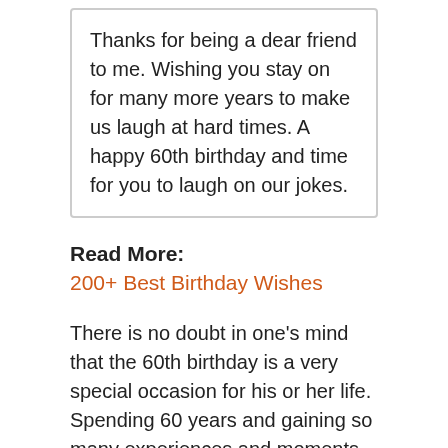Thanks for being a dear friend to me. Wishing you stay on for many more years to make us laugh at hard times. A happy 60th birthday and time for you to laugh on our jokes.
Read More:
200+ Best Birthday Wishes
There is no doubt in one's mind that the 60th birthday is a very special occasion for his or her life. Spending 60 years and gaining so many experiences and moments to think about, the birthday is something that everybody should celebrate in a great